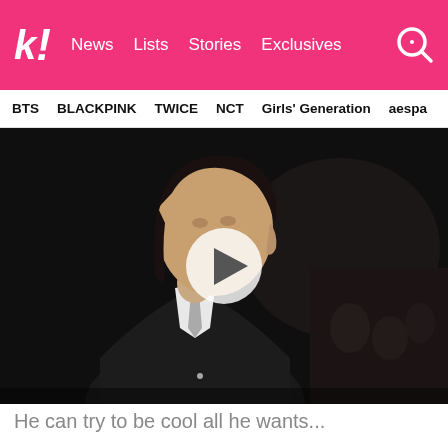k! News Lists Stories Exclusives
BTS BLACKPINK TWICE NCT Girls' Generation aespa
[Figure (screenshot): Video thumbnail showing a person in a dark suit in a dimly lit setting with a play button overlay in the center]
He can try to be cool all he wants...